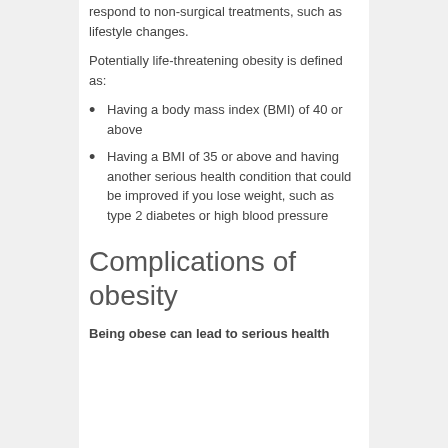respond to non-surgical treatments, such as lifestyle changes.
Potentially life-threatening obesity is defined as:
Having a body mass index (BMI) of 40 or above
Having a BMI of 35 or above and having another serious health condition that could be improved if you lose weight, such as type 2 diabetes or high blood pressure
Complications of obesity
Being obese can lead to serious health